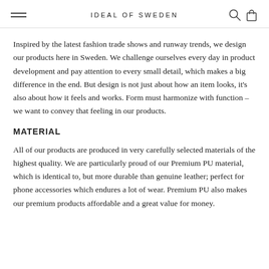IDEAL OF SWEDEN
Inspired by the latest fashion trade shows and runway trends, we design our products here in Sweden. We challenge ourselves every day in product development and pay attention to every small detail, which makes a big difference in the end. But design is not just about how an item looks, it's also about how it feels and works. Form must harmonize with function – we want to convey that feeling in our products.
MATERIAL
All of our products are produced in very carefully selected materials of the highest quality. We are particularly proud of our Premium PU material, which is identical to, but more durable than genuine leather; perfect for phone accessories which endures a lot of wear. Premium PU also makes our premium products affordable and a great value for money.